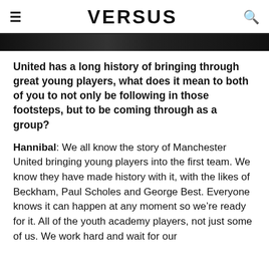≡  VERSUS  🔍
[Figure (photo): Dark image strip at top of page, partially visible photograph]
United has a long history of bringing through great young players, what does it mean to both of you to not only be following in those footsteps, but to be coming through as a group?
Hannibal: We all know the story of Manchester United bringing young players into the first team. We know they have made history with it, with the likes of Beckham, Paul Scholes and George Best. Everyone knows it can happen at any moment so we're ready for it. All of the youth academy players, not just some of us. We work hard and wait for our